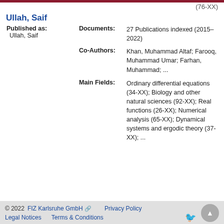(76-XX)
Ullah, Saif
Published as: Ullah, Saif
Documents: 27 Publications indexed (2015–2022)
Co-Authors: Khan, Muhammad Altaf; Farooq, Muhammad Umar; Farhan, Muhammad; ...
Main Fields: Ordinary differential equations (34-XX); Biology and other natural sciences (92-XX); Real functions (26-XX); Numerical analysis (65-XX); Dynamical systems and ergodic theory (37-XX); ...
© 2022  FIZ Karlsruhe GmbH  Privacy Policy  Legal Notices  Terms & Conditions